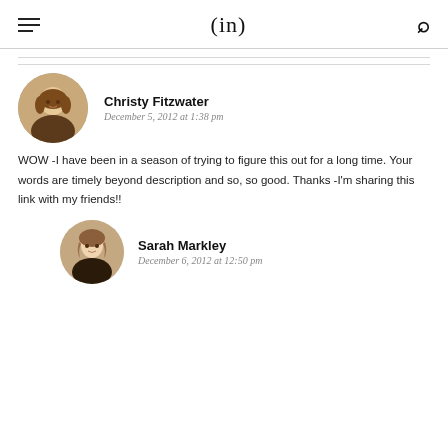(in)
Christy Fitzwater
December 5, 2012 at 1:38 pm
WOW -I have been in a season of trying to figure this out for a long time. Your words are timely beyond description and so, so good. Thanks -I'm sharing this link with my friends!!
Sarah Markley
December 6, 2012 at 12:50 pm